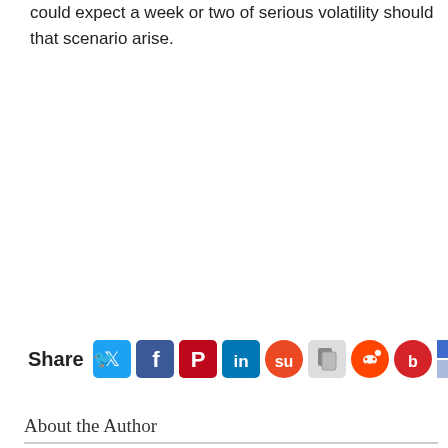could expect a week or two of serious volatility should that scenario arise.
[Figure (infographic): Social share bar with icons: Twitter, Facebook, Pinterest, LinkedIn, StumbleUpon, copy, Reddit, Bebo, Delicious, Print]
About the Author
Ian Williams - Ian Williams has been trading stocks, indices, account for over 30 years. He set up a "trading training" comp helped a large number of people to become successful trader flyfishing, spending his winters in the Alps and summers in Scandinavia. http://www.trading-the-easy-way.com
[Figure (infographic): Related News bar with Like 0, Tweet, and Share buttons, followed by four thumbnail images of related articles]
Related News